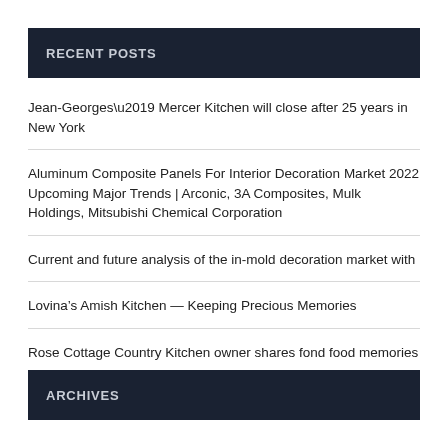RECENT POSTS
Jean-Georges’ Mercer Kitchen will close after 25 years in New York
Aluminum Composite Panels For Interior Decoration Market 2022 Upcoming Major Trends | Arconic, 3A Composites, Mulk Holdings, Mitsubishi Chemical Corporation
Current and future analysis of the in-mold decoration market with
Lovina’s Amish Kitchen — Keeping Precious Memories
Rose Cottage Country Kitchen owner shares fond food memories
ARCHIVES